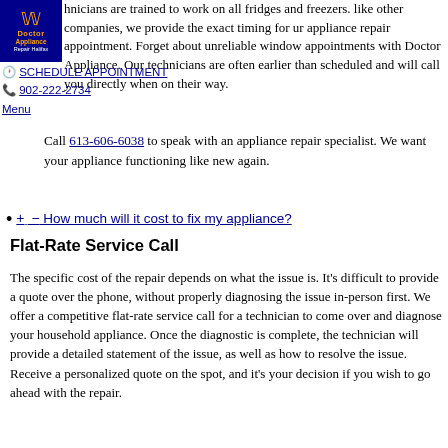hnicians are trained to work on all fridges and freezers. like other companies, we provide the exact timing for ur appliance repair appointment. Forget about unreliable window appointments with Doctor Appliance. Our technicians are often earlier than scheduled and will call you directly when on their way.
SCHEDULE APPOINTMENT
902-222-2734
Menu
Call 613-606-6038 to speak with an appliance repair specialist. We want your appliance functioning like new again.
+ − How much will it cost to fix my appliance?
Flat-Rate Service Call
The specific cost of the repair depends on what the issue is. It's difficult to provide a quote over the phone, without properly diagnosing the issue in-person first. We offer a competitive flat-rate service call for a technician to come over and diagnose your household appliance. Once the diagnostic is complete, the technician will provide a detailed statement of the issue, as well as how to resolve the issue. Receive a personalized quote on the spot, and it's your decision if you wish to go ahead with the repair.